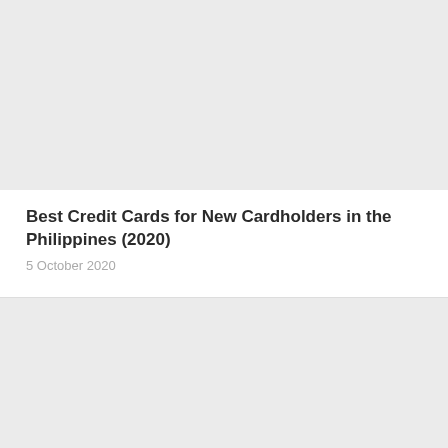[Figure (photo): Top placeholder image area with light gray background]
Best Credit Cards for New Cardholders in the Philippines (2020)
5 October 2020
[Figure (photo): Bottom placeholder image area with light gray background]